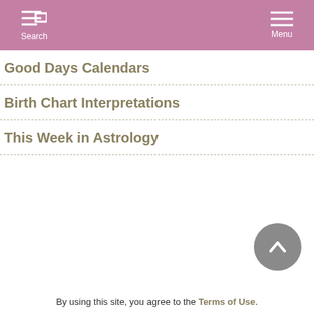Search  Menu
Good Days Calendars
Birth Chart Interpretations
This Week in Astrology
By using this site, you agree to the Terms of Use.